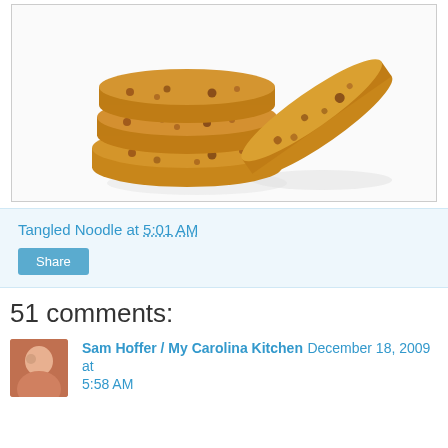[Figure (photo): Stack of golden-brown chocolate chip or raisin cookies on a white background, with one cookie leaning against the stack]
Tangled Noodle at 5:01 AM
Share
51 comments:
Sam Hoffer / My Carolina Kitchen December 18, 2009 at 5:58 AM